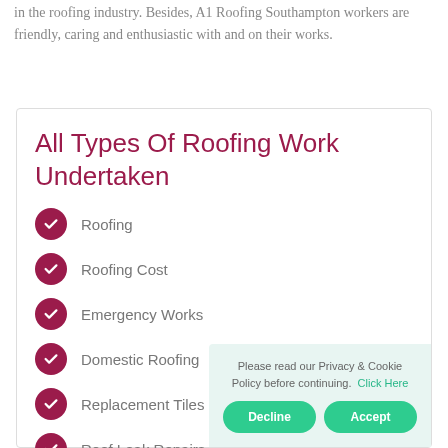in the roofing industry. Besides, A1 Roofing Southampton workers are friendly, caring and enthusiastic with and on their works.
All Types Of Roofing Work Undertaken
Roofing
Roofing Cost
Emergency Works
Domestic Roofing
Replacement Tiles
Roof Leak Repairs
Please read our Privacy & Cookie Policy before continuing. Click Here
Decline
Accept